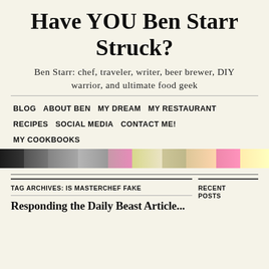Have YOU Ben Starr Struck?
Ben Starr: chef, traveler, writer, beer brewer, DIY warrior, and ultimate food geek
BLOG   ABOUT BEN   MY DREAM   MY RESTAURANT   RECIPES   SOCIAL MEDIA   CONTACT ME!   MY COOKBOOKS
[Figure (photo): Horizontal banner strip showing multiple photos of people]
TAG ARCHIVES: IS MASTERCHEF FAKE
RECENT POSTS
Responding the Daily Beast Article...